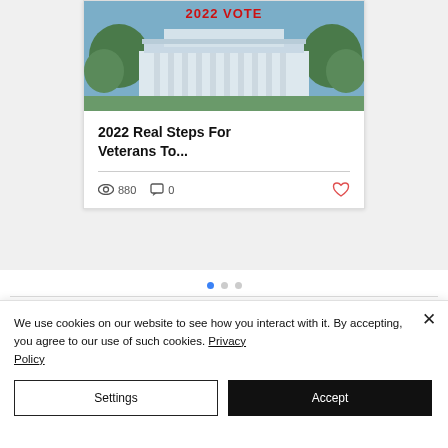[Figure (photo): White House building photograph with trees on either side and red text overlay at top]
2022 Real Steps For Veterans To...
880 views · 0 comments · like
We use cookies on our website to see how you interact with it. By accepting, you agree to our use of such cookies. Privacy Policy
Settings
Accept